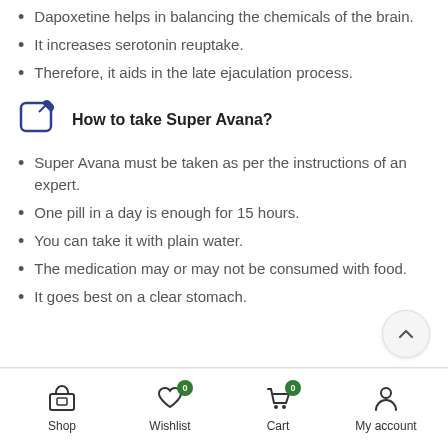Dapoxetine helps in balancing the chemicals of the brain.
It increases serotonin reuptake.
Therefore, it aids in the late ejaculation process.
How to take Super Avana?
Super Avana must be taken as per the instructions of an expert.
One pill in a day is enough for 15 hours.
You can take it with plain water.
The medication may or may not be consumed with food.
It goes best on a clear stomach.
Shop  Wishlist 0  Cart 0  My account